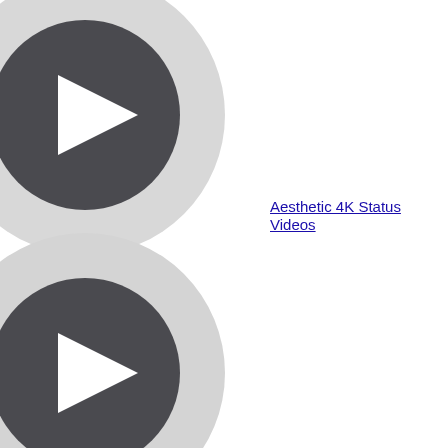[Figure (illustration): Video player placeholder icon — large light grey circle with a smaller dark grey circle in the center containing a white play triangle, positioned in upper-left area]
Aesthetic 4K Status Videos
[Figure (illustration): Video player placeholder icon — large light grey circle with a smaller dark grey circle in the center containing a white play triangle, positioned in lower-left area]